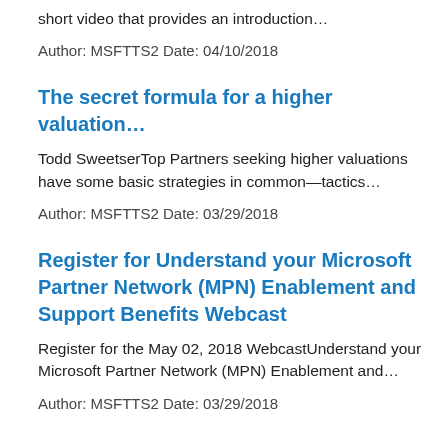short video that provides an introduction…
Author: MSFTTS2 Date: 04/10/2018
The secret formula for a higher valuation…
Todd SweetserTop Partners seeking higher valuations have some basic strategies in common—tactics…
Author: MSFTTS2 Date: 03/29/2018
Register for Understand your Microsoft Partner Network (MPN) Enablement and Support Benefits Webcast
Register for the May 02, 2018 WebcastUnderstand your Microsoft Partner Network (MPN) Enablement and…
Author: MSFTTS2 Date: 03/29/2018